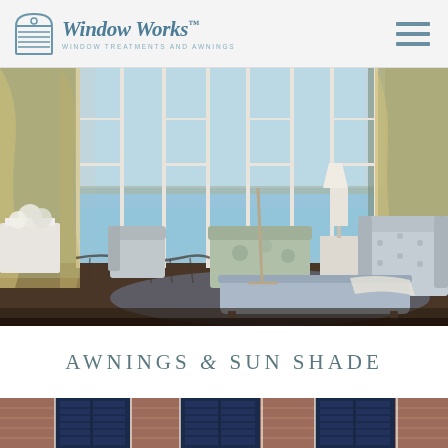Window Works™ WINDOW TREATMENTS AND AWNINGS
[Figure (photo): Elegant living room with floor-to-ceiling French doors and tall curtain panels overlooking a waterfront, featuring upholstered furniture in light blue/grey tones, a chaise lounge, wingback chair, lamp on side table, and floral sofa. Dark hardwood floors, light walls.]
AWNINGS & SUN SHADE
[Figure (photo): Bottom strip of a brick building exterior with navy blue window awnings/shutters visible.]